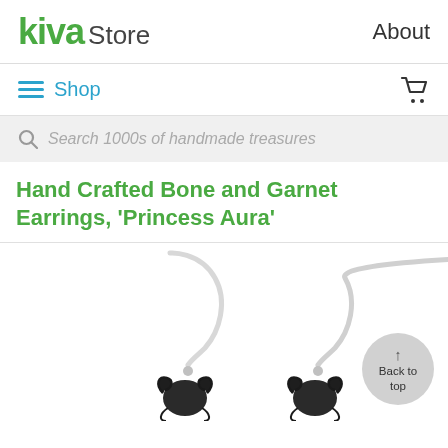kiva Store   About
Shop
Search 1000s of handmade treasures
Hand Crafted Bone and Garnet Earrings, 'Princess Aura'
[Figure (photo): Close-up photo of two silver hook earrings with ornate bone and garnet pendant charm details, on white background. A 'Back to top' button is overlaid on the right side.]